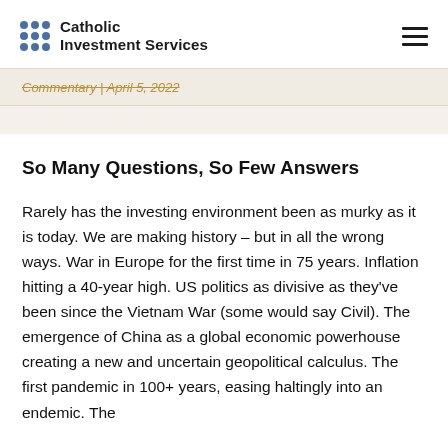Catholic Investment Services
Commentary | April 5, 2022
So Many Questions, So Few Answers
Rarely has the investing environment been as murky as it is today. We are making history – but in all the wrong ways. War in Europe for the first time in 75 years. Inflation hitting a 40-year high. US politics as divisive as they've been since the Vietnam War (some would say Civil). The emergence of China as a global economic powerhouse creating a new and uncertain geopolitical calculus. The first pandemic in 100+ years, easing haltingly into an endemic. The